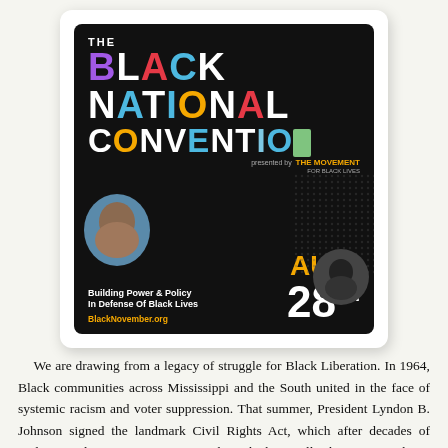[Figure (illustration): Event poster for 'The Black National Convention' presented by The Movement for Black Lives, scheduled for Aug. 28th. Black background with colorful lettering, two person portraits, and text 'Building Power & Policy In Defense Of Black Lives' and 'BlackNovember.org']
We are drawing from a legacy of struggle for Black Liberation. In 1964, Black communities across Mississippi and the South united in the face of systemic racism and voter suppression. That summer, President Lyndon B. Johnson signed the landmark Civil Rights Act, which after decades of violence and segregation, was won through sheer will. Then, on March 10, 1972, 4,000 Black people from every political affiliation attended the National Black Political